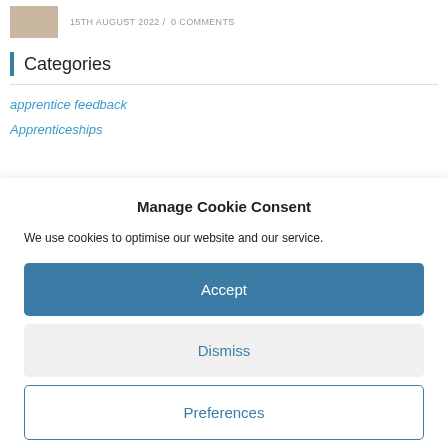15TH AUGUST 2022 / 0 COMMENTS
Categories
apprentice feedback
Apprenticeships
Manage Cookie Consent
We use cookies to optimise our website and our service.
Accept
Dismiss
Preferences